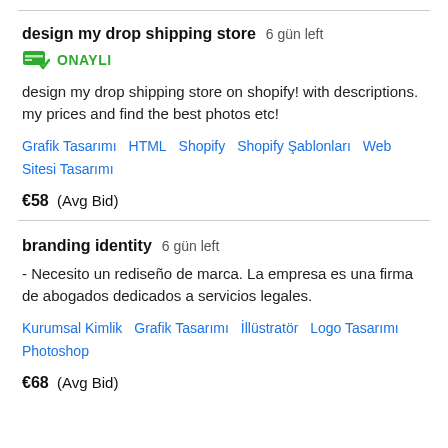design my drop shipping store  6 gün left
ONAYLI
design my drop shipping store on shopify! with descriptions. my prices and find the best photos etc!
Grafik Tasarımı   HTML   Shopify   Shopify Şablonları   Web Sitesi Tasarımı
€58  (Avg Bid)
branding identity  6 gün left
- Necesito un rediseño de marca. La empresa es una firma de abogados dedicados a servicios legales.
Kurumsal Kimlik   Grafik Tasarımı   İllüstratör   Logo Tasarımı   Photoshop
€68  (Avg Bid)